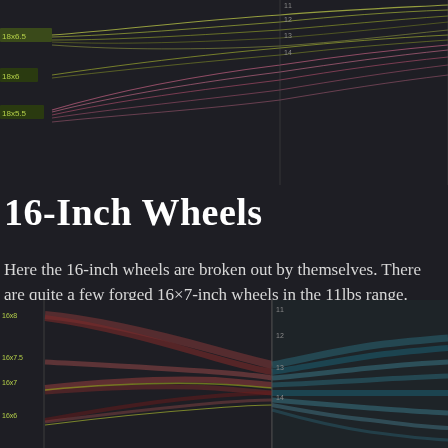[Figure (infographic): Top section showing parallel coordinate / flow chart visualization with colored curved lines on dark background. Labels visible on left side include '18x6.5', '18x6', '18x5.5'. Right side shows vertical axis lines. Colors include yellow-green, pink/magenta on dark background.]
16-Inch Wheels
Here the 16-inch wheels are broken out by themselves. There are quite a few forged 16×7-inch wheels in the 11lbs range. Too bad there aren't a ton of tire options in the 16-inch tire size. I was considering a 16×8-inch wheel but the tire size I wanted (245/xx/r16) was limited to autocross/competition type tires.
[Figure (infographic): Bottom section showing two parallel coordinate / flow chart visualizations side by side on dark background. Left chart has reddish/brown curved flow lines with yellow-green labels. Right chart has teal/blue curved flow lines with numeric axis labels 11, 12, 13, 14 visible.]